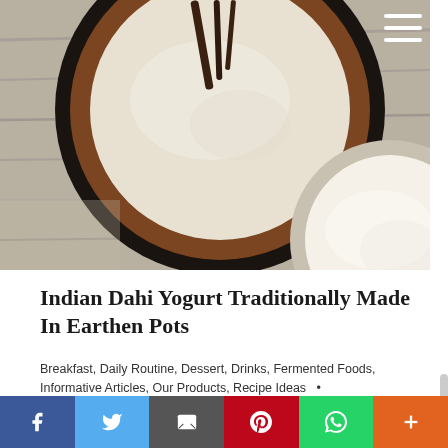[Figure (photo): Overhead view of Indian clay/earthen pots containing dahi yogurt on a wooden surface. A dark round pot with wooden stirrer and a lighter round bowl with white yogurt visible.]
Indian Dahi Yogurt Traditionally Made In Earthen Pots
Breakfast, Daily Routine, Dessert, Drinks, Fermented Foods, Informative Articles, Our Products, Recipe Ideas
By Pure Indian Foods • January 20, 2020 • 1 Comment